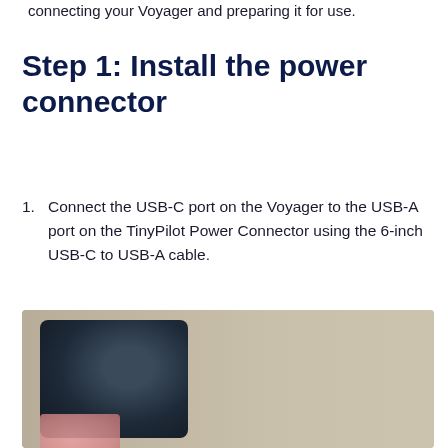connecting your Voyager and preparing it for use.
Step 1: Install the power connector
Connect the USB-C port on the Voyager to the USB-A port on the TinyPilot Power Connector using the 6-inch USB-C to USB-A cable.
[Figure (photo): Photo showing a dark TinyPilot Voyager device connected to a USB cable on a beige/tan surface, with a pink/coral component visible at the bottom left.]